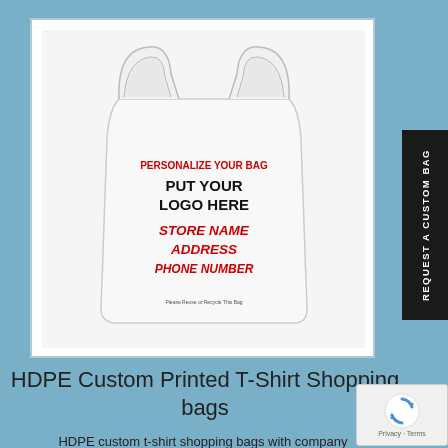[Figure (photo): White HDPE t-shirt shopping bag with printed text: 'PERSONALIZE YOUR BAG' in red, 'PUT YOUR LOGO HERE' in black bold, 'STORE NAME ADDRESS PHONE NUMBER' in red bold italic, and a recycling notice at the bottom.]
[Figure (other): Black vertical sidebar button with white text reading 'REQUEST A CUSTOM BAG' rotated vertically.]
HDPE Custom Printed T-Shirt Shopping bags
HDPE custom t-shirt shopping bags with company
[Figure (other): Google reCAPTCHA badge with Privacy and Terms links.]